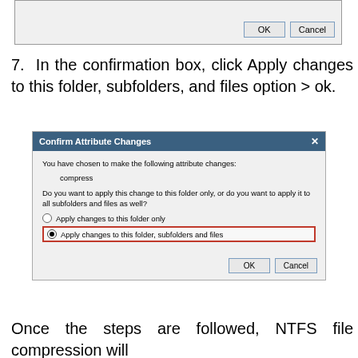[Figure (screenshot): Top partial dialog with OK and Cancel buttons]
7. In the confirmation box, click Apply changes to this folder, subfolders, and files option > ok.
[Figure (screenshot): Confirm Attribute Changes dialog showing options to apply changes to this folder only or to this folder subfolders and files, with the second option selected and highlighted in red border. OK and Cancel buttons at bottom.]
Once the steps are followed, NTFS file compression will be applied to the size of all files present in the folder.